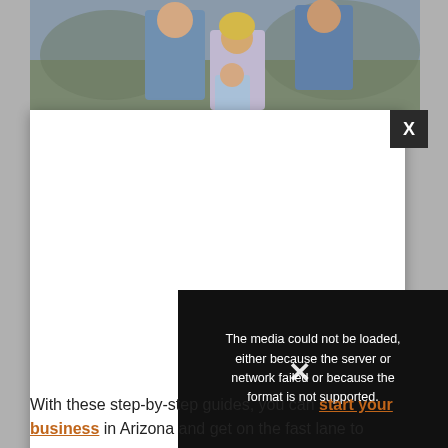[Figure (photo): Family photo at top showing adults and children outdoors, partially visible behind a white modal overlay]
[Figure (screenshot): White modal/popup overlay with a black close button (X) in top right corner, and a video player showing an error message: 'The media could not be loaded, either because the server or network failed or because the format is not supported.' A circular X button appears on the right side.]
With these step-by-step guides, you can start your business in Arizona and get on the fast lane to